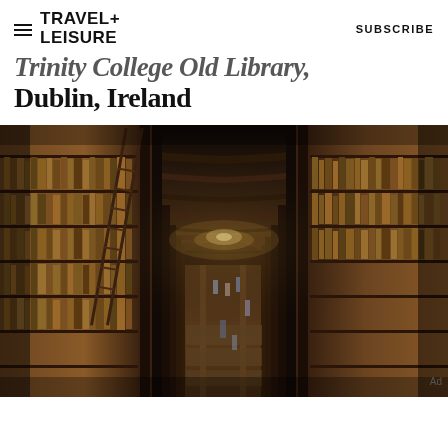TRAVEL+ LEISURE   SUBSCRIBE
Trinity College Old Library, Dublin, Ireland
[Figure (photo): Interior long hall of Trinity College Old Library in Dublin, Ireland. The photograph shows a grand barrel-vaulted ceiling with ornate wooden arches receding into the distance. Tall dark wood bookshelves line both sides, filled with ancient leather-bound volumes. A wooden ladder leans against the shelves on the left. Marble busts are visible at the ends of the stacks. Visitors walk along the polished central aisle lit by tall windows. The perspective creates a strong vanishing point down the length of the room.]